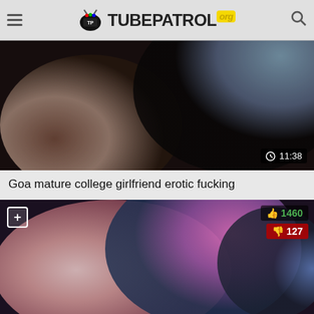TUBEPATROL.org
[Figure (screenshot): Video thumbnail showing dark blurred content with duration badge showing 11:38]
Goa mature college girlfriend erotic fucking
[Figure (screenshot): Video thumbnail showing content with like count 1460 and dislike count 127, plus button in top left]